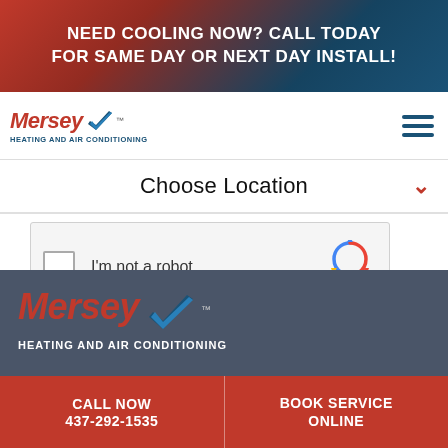NEED COOLING NOW? CALL TODAY FOR SAME DAY OR NEXT DAY INSTALL!
[Figure (logo): Mersey Heating and Air Conditioning logo with red italic wordmark and blue checkmark]
Choose Location
[Figure (screenshot): reCAPTCHA widget with checkbox labeled I'm not a robot]
[Figure (logo): Mersey Heating and Air Conditioning footer logo, large, white background on dark grey]
CALL NOW 437-292-1535
BOOK SERVICE ONLINE